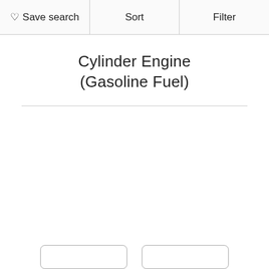Save search  Sort  Filter
Cylinder Engine (Gasoline Fuel)